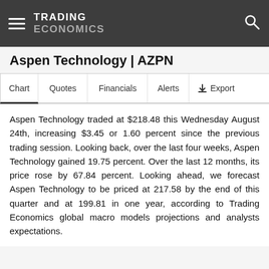TRADING ECONOMICS
Aspen Technology | AZPN
Chart  Quotes  Financials  Alerts  Export
Aspen Technology traded at $218.48 this Wednesday August 24th, increasing $3.45 or 1.60 percent since the previous trading session. Looking back, over the last four weeks, Aspen Technology gained 19.75 percent. Over the last 12 months, its price rose by 67.84 percent. Looking ahead, we forecast Aspen Technology to be priced at 217.58 by the end of this quarter and at 199.81 in one year, according to Trading Economics global macro models projections and analysts expectations.